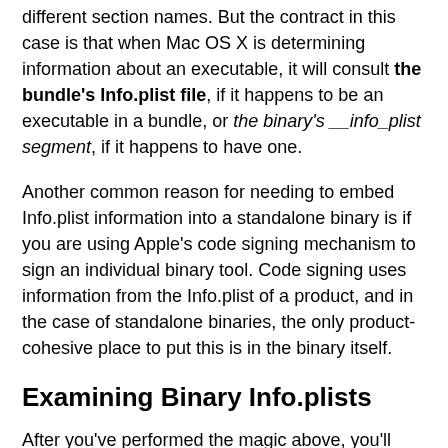different section names. But the contract in this case is that when Mac OS X is determining information about an executable, it will consult the bundle's Info.plist file, if it happens to be an executable in a bundle, or the binary's __info_plist segment, if it happens to have one.
Another common reason for needing to embed Info.plist information into a standalone binary is if you are using Apple's code signing mechanism to sign an individual binary tool. Code signing uses information from the Info.plist of a product, and in the case of standalone binaries, the only product-cohesive place to put this is in the binary itself.
Examining Binary Info.plists
After you've performed the magic above, you'll probably be keen to inspect your command-line tool's Info.plist to see if it worked. To do this, you can use the otool command from the Finder. If you run otool with the "-l" option to show all load commands, it will include the load command that identifies the __info_plist